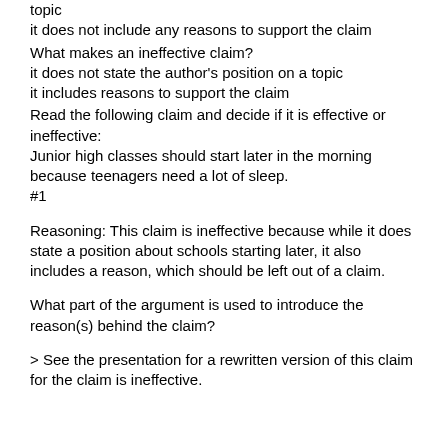topic
it does not include any reasons to support the claim
What makes an ineffective claim?
it does not state the author's position on a topic
it includes reasons to support the claim
Read the following claim and decide if it is effective or ineffective:
Junior high classes should start later in the morning because teenagers need a lot of sleep.
#1
Reasoning: This claim is ineffective because while it does state a position about schools starting later, it also includes a reason, which should be left out of a claim.
What part of the argument is used to introduce the reason(s) behind the claim?
> See the presentation for a rewritten version of this claim for the claim is ineffective.